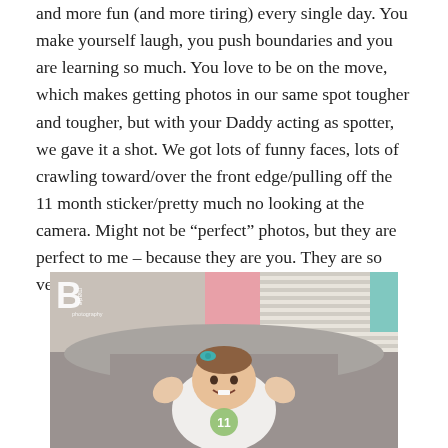and more fun (and more tiring) every single day. You make yourself laugh, you push boundaries and you are learning so much. You love to be on the move, which makes getting photos in our same spot tougher and tougher, but with your Daddy acting as spotter, we gave it a shot. We got lots of funny faces, lots of crawling toward/over the front edge/pulling off the 11 month sticker/pretty much no looking at the camera. Might not be “perfect” photos, but they are perfect to me – because they are you. They are so very you.
[Figure (photo): A baby girl wearing a white onesie with an '11' sticker, sitting on a gray armchair with arms raised, smiling. A teal hair bow is on her head. Pink curtains and blinds visible in background. B marie photography watermark in upper left corner.]